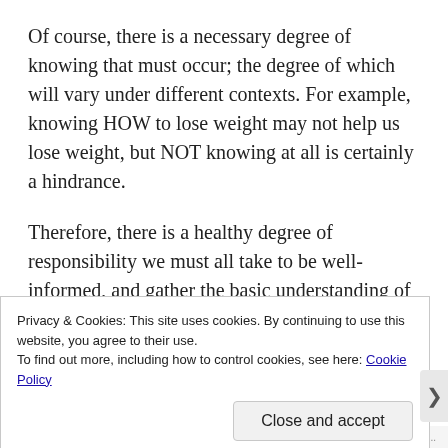Of course, there is a necessary degree of knowing that must occur; the degree of which will vary under different contexts. For example, knowing HOW to lose weight may not help us lose weight, but NOT knowing at all is certainly a hindrance.
Therefore, there is a healthy degree of responsibility we must all take to be well-informed, and gather the basic understanding of the WHYs, WHATs and HOWs of any given situation. But that is where we must
Privacy & Cookies: This site uses cookies. By continuing to use this website, you agree to their use.
To find out more, including how to control cookies, see here: Cookie Policy
Close and accept